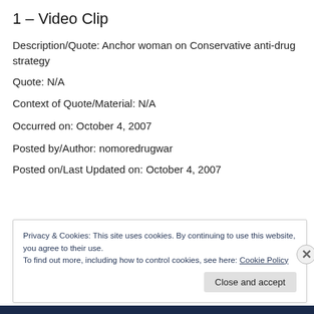1 – Video Clip
Description/Quote: Anchor woman on Conservative anti-drug strategy
Quote: N/A
Context of Quote/Material: N/A
Occurred on: October 4, 2007
Posted by/Author: nomoredrugwar
Posted on/Last Updated on: October 4, 2007
Privacy & Cookies: This site uses cookies. By continuing to use this website, you agree to their use.
To find out more, including how to control cookies, see here: Cookie Policy
Close and accept